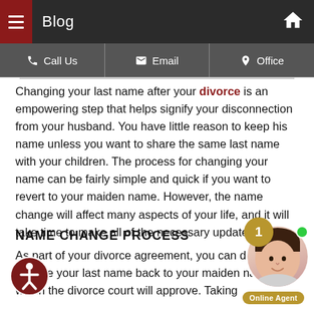Blog
Call Us | Email | Office
Changing your last name after your divorce is an empowering step that helps signify your disconnection from your husband. You have little reason to keep his name unless you want to share the same last name with your children. The process for changing your name can be fairly simple and quick if you want to revert to your maiden name. However, the name change will affect many aspects of your life, and it will take time to make all of the necessary updates.
NAME CHANGE PROCESS
As part of your divorce agreement, you can decide to change your last name back to your maiden name, which the divorce court will approve. Taking